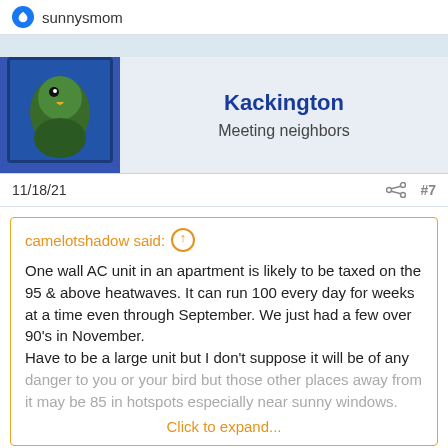sunnysmom
Kackington
Meeting neighbors
11/18/21  #7
camelotshadow said: ↑
One wall AC unit in an apartment is likely to be taxed on the 95 & above heatwaves. It can run 100 every day for weeks at a time even through September. We just had a few over 90's in November.
Have to be a large unit but I don't suppose it will be of any danger to you or your bird but those other places away from it may be 85 in hotspots especially near sunny windows.
Click to expand...
Hey thanks so much for all of your advice!! I'll definitely bring up some of these points with my landlord. Safety for my birds is one of my top priorities so it means a lot to me that you'd take the time to